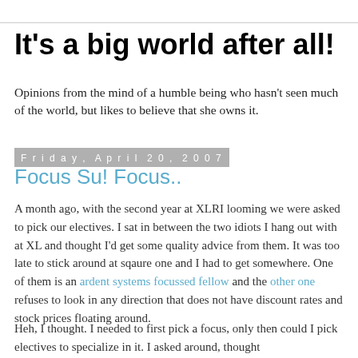It's a big world after all!
Opinions from the mind of a humble being who hasn't seen much of the world, but likes to believe that she owns it.
Friday, April 20, 2007
Focus Su! Focus..
A month ago, with the second year at XLRI looming we were asked to pick our electives. I sat in between the two idiots I hang out with at XL and thought I'd get some quality advice from them. It was too late to stick around at sqaure one and I had to get somewhere. One of them is an ardent systems focussed fellow and the other one refuses to look in any direction that does not have discount rates and stock prices floating around.
Heh, I thought. I needed to first pick a focus, only then could I pick electives to specialize in it. I asked around, thought